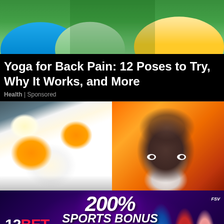[Figure (photo): Photo of people doing yoga or stretching, cropped at top showing arms and torsos with green background]
Yoga for Back Pain: 12 Poses to Try, Why It Works, and More
Health | Sponsored
[Figure (photo): Two images side by side: left shows soft-boiled eggs cut in half on a plate with orange yolks; right shows an animated cartoon female character with stylized hair]
[Figure (photo): Advertisement banner for 12BET showing '200% Sports Bonus' text with cricket players on the right and text 'DEPOSIT NOW & TRIPLE YOUR MONEY WITH 200% EXTRA BONUS']
Is it OK to eat eggs every day?